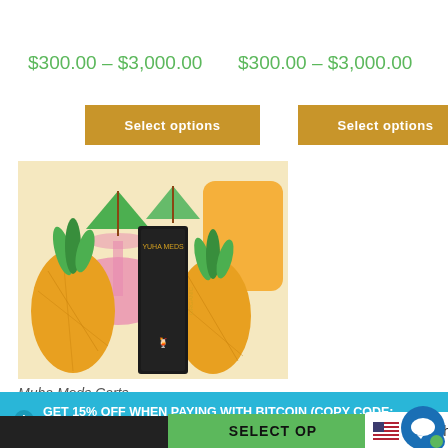$300.00 – $3,000.00
$300.00 – $3,000.00
Select options
Select options
[Figure (photo): Product photo of Muha Meds Carts vape cartridge box surrounded by pineapples and tropical drinks with umbrellas]
Muha Meds Carts
ℹ GET 15% OFF WHEN PAYING WITH BITCOIN (COPY CODE: MCBTCORDER)
SELECT OP...
English